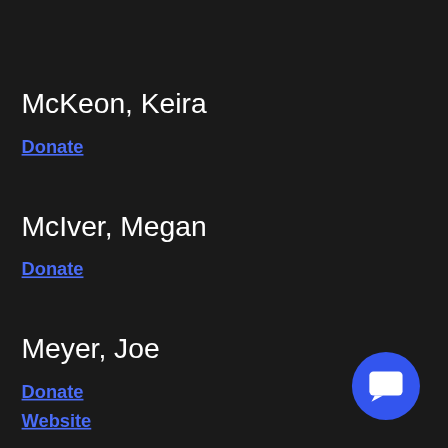McKeon, Keira
Donate
McIver, Megan
Donate
Meyer, Joe
Donate
Website